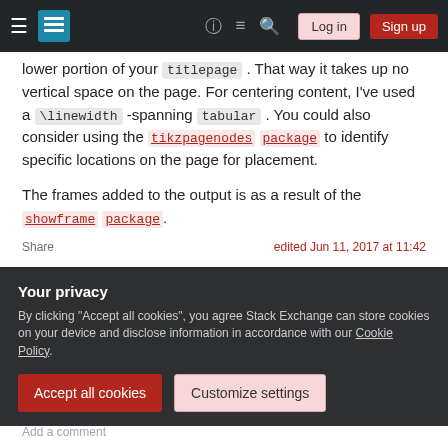Stack Exchange navigation bar with hamburger menu, logo, help, chat, search icons, Log in and Sign up buttons
lower portion of your titlepage . That way it takes up no vertical space on the page. For centering content, I've used a \linewidth -spanning tabular . You could also consider using the tikzpagenodes package to identify specific locations on the page for placement.
The frames added to the output is as a result of the showframe package.
Share
edited Jun 11, 2017 at 11:42
Your privacy
By clicking "Accept all cookies", you agree Stack Exchange can store cookies on your device and disclose information in accordance with our Cookie Policy.
Accept all cookies   Customize settings
Add a comment